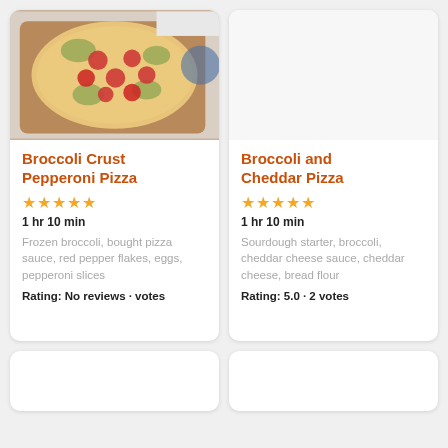[Figure (photo): Photo of a broccoli crust pepperoni pizza on a wooden cutting board]
Broccoli Crust Pepperoni Pizza
★★★★★
1 hr 10 min
Frozen broccoli, bought pizza sauce, red pepper flakes, eggs, pepperoni slices
Rating: No reviews · votes
Broccoli and Cheddar Pizza
★★★★★
1 hr 10 min
Sourdough starter, broccoli, cheddar cheese sauce, cheddar cheese, bread flour
Rating: 5.0 · 2 votes